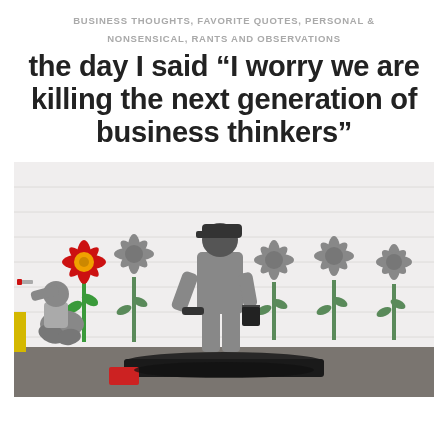BUSINESS THOUGHTS, FAVORITE QUOTES, PERSONAL & NONSENSICAL, RANTS AND OBSERVATIONS
the day I said “I worry we are killing the next generation of business thinkers”
[Figure (photo): Street art mural on a white brick wall showing a crouching child painting a colorful red flower and a standing adult figure in gray overalls painting over flowers with gray paint using a roller, with a paint bucket. Several gray painted flower silhouettes are visible alongside bright red and green flowers. A black tarp and red paint box are visible on the floor in front.]